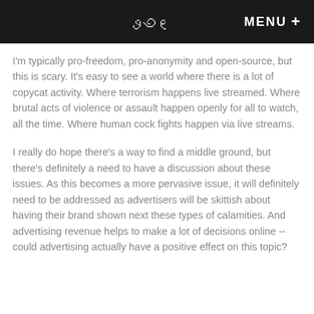MENU +
I'm typically pro-freedom, pro-anonymity and open-source, but this is scary. It's easy to see a world where there is a lot of copycat activity. Where terrorism happens live streamed. Where brutal acts of violence or assault happen openly for all to watch, all the time. Where human cock fights happen via live streams.
I really do hope there's a way to find a middle ground, but there's definitely a need to have a discussion about these issues. As this becomes a more pervasive issue, it will definitely need to be addressed as advertisers will be skittish about having their brand shown next these types of calamities. And advertising revenue helps to make a lot of decisions online -- could advertising actually have a positive effect on this topic?